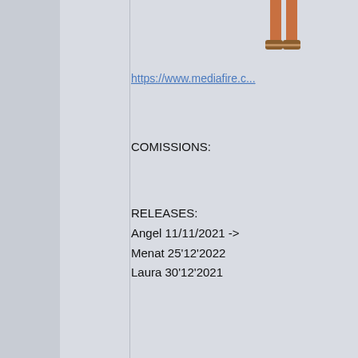https://www.mediafire.c...
COMISSIONS:
RELEASES:
Angel 11/11/2021 ->
Menat 25'12'2022
Laura 30'12'2021
[Figure (screenshot): Image placeholder with broken image icon]
Last Edit: 7 months ago by Ma...
Momotaro
Re: Angel KOF XIV 3d re...
[Figure (photo): Momotaro avatar/logo image with blue stylized text]
Interesting.
And glad to see you're...